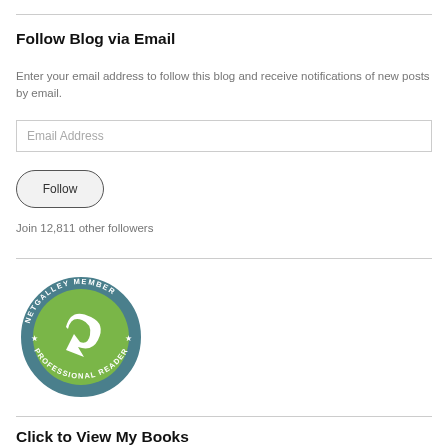Follow Blog via Email
Enter your email address to follow this blog and receive notifications of new posts by email.
[Figure (screenshot): Email address input field with placeholder text 'Email Address']
[Figure (screenshot): Follow button with rounded pill shape]
Join 12,811 other followers
[Figure (logo): NetGalley Member Professional Reader circular badge logo in teal/green colors with arrow swirl design]
Click to View My Books